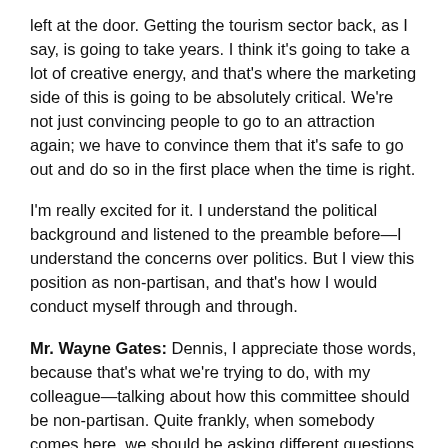left at the door. Getting the tourism sector back, as I say, is going to take years. I think it's going to take a lot of creative energy, and that's where the marketing side of this is going to be absolutely critical. We're not just convincing people to go to an attraction again; we have to convince them that it's safe to go out and do so in the first place when the time is right.
I'm really excited for it. I understand the political background and listened to the preamble before—I understand the concerns over politics. But I view this position as non-partisan, and that's how I would conduct myself through and through.
Mr. Wayne Gates: Dennis, I appreciate those words, because that's what we're trying to do, with my colleague—talking about how this committee should be non-partisan. Quite frankly, when somebody comes here, we should be asking different questions than what your affiliation is with your party—if it was more non-partisan